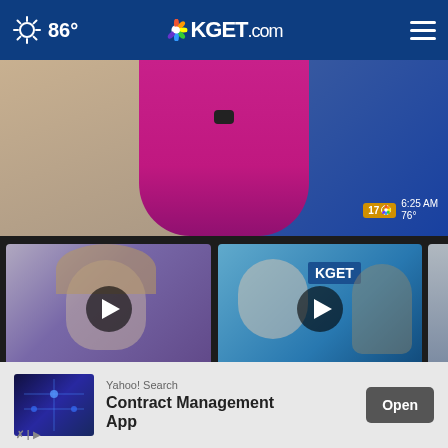86° KGET.com
[Figure (screenshot): News anchor in pink/magenta top visible from torso, with TV station bug showing 6:25 AM 76°]
[Figure (screenshot): Video thumbnail: woman with blonde hair, play button overlay]
New fitness studio helping clients climb t...
3 hours ago
[Figure (screenshot): Video thumbnail: news anchors at KGET desk, play button overlay]
Cracker Barrel in central Bakersfield...
4 hours ago
[Figure (screenshot): Partial video thumbnail: cloudy sky]
Dog b... ingest
More Videos ›
[Figure (advertisement): Yahoo! Search Contract Management App advertisement with Open button]